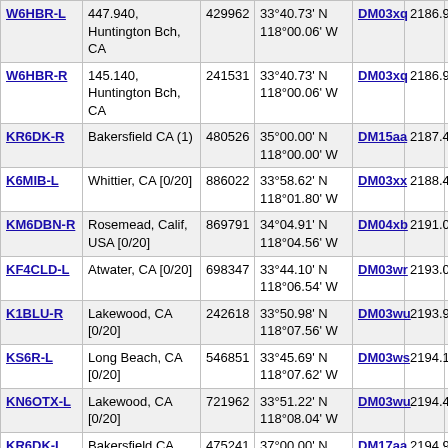| Callsign | Location | ID | Coordinates | Grid | Dist | Freq |
| --- | --- | --- | --- | --- | --- | --- |
| W6HBR-L | 447.940, Huntington Bch, CA | 429962 | 33°40.73' N 118°00.06' W | DM03xq | 2186.9 | 447.9 |
| W6HBR-R | 145.140, Huntington Bch, CA | 241531 | 33°40.73' N 118°00.06' W | DM03xq | 2186.9 | 145. |
| KR6DK-R | Bakersfield CA (1) | 480526 | 35°00.00' N 118°00.00' W | DM15aa | 2187.4 | 145. |
| K6MIB-L | Whittier, CA [0/20] | 886022 | 33°58.62' N 118°01.80' W | DM03xx | 2188.4 |  |
| KM6DBN-R | Rosemead, Calif, USA [0/20] | 869791 | 34°04.91' N 118°04.56' W | DM04xb | 2191.0 |  |
| KF4CLD-L | Atwater, CA [0/20] | 698347 | 33°44.10' N 118°06.54' W | DM03wr | 2193.0 |  |
| K1BLU-R | Lakewood, CA [0/20] | 242618 | 33°50.98' N 118°07.56' W | DM03wu | 2193.9 |  |
| KS6R-L | Long Beach, CA [0/20] | 546851 | 33°45.69' N 118°07.62' W | DM03ws | 2194.1 |  |
| KN6OTX-L | Lakewood, CA [0/20] | 721962 | 33°51.22' N 118°08.04' W | DM03wu | 2194.4 |  |
| KR6DK-L | Bakersfield CA [1/4] | 475241 | 37°00.00' N 118°00.00' W | DM17aa | 2194.9 | 145. |
| W7ANK-L | Meridian , ID [0/20] | 800695 | 43°36.72' N 116°23.46' W | DN13to | 2196.0 |  |
| KA6VHA-R | In Conference *NAUTICA* | 249103 | 34°09.58' N 118°11.10' W | DM04vd | 2197.2 | 1286. |